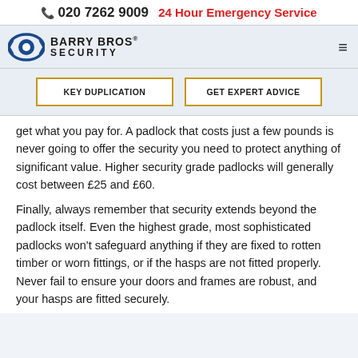📞 020 7262 9009  24 Hour Emergency Service
[Figure (logo): Barry Bros Security logo with eye icon]
KEY DUPLICATION
GET EXPERT ADVICE
get what you pay for. A padlock that costs just a few pounds is never going to offer the security you need to protect anything of significant value. Higher security grade padlocks will generally cost between £25 and £60.
Finally, always remember that security extends beyond the padlock itself. Even the highest grade, most sophisticated padlocks won't safeguard anything if they are fixed to rotten timber or worn fittings, or if the hasps are not fitted properly. Never fail to ensure your doors and frames are robust, and your hasps are fitted securely.